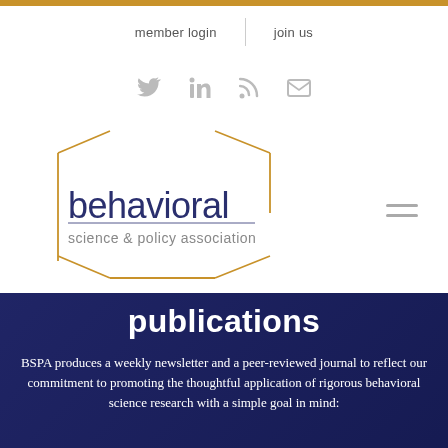member login | join us
[Figure (infographic): Social media icons: Twitter, LinkedIn, RSS, Email]
[Figure (logo): Behavioral Science & Policy Association logo with hexagonal outline, text 'behavioral science & policy association']
publications
BSPA produces a weekly newsletter and a peer-reviewed journal to reflect our commitment to promoting the thoughtful application of rigorous behavioral science research with a simple goal in mind: